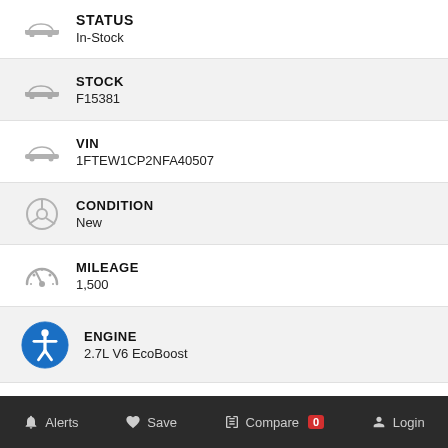STATUS
In-Stock
STOCK
F15381
VIN
1FTEW1CP2NFA40507
CONDITION
New
MILEAGE
1,500
ENGINE
2.7L V6 EcoBoost
BODY STYLE
Truck
Alerts   Save   Compare 0   Login